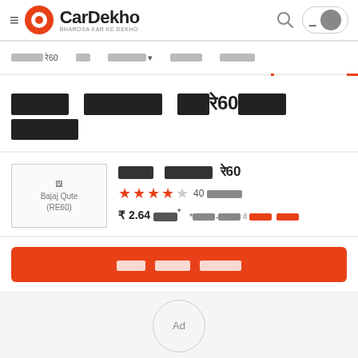CarDekho — BHAROSA KAR KE DEKHO — navigation header
Nav bar: [Hindi text]60  [Hindi]  [Hindi] ▾  [Hindi]  [Hindi]
[Hindi text] RE60 [Hindi text]
[Figure (photo): Bajaj Qute (RE60) car image placeholder]
Bajaj Qute RE60 — 4 stars (40 reviews) — ₹ 2.64 [Hindi]* *[Hindi text]
[Hindi] button: CTA button in orange
Ad